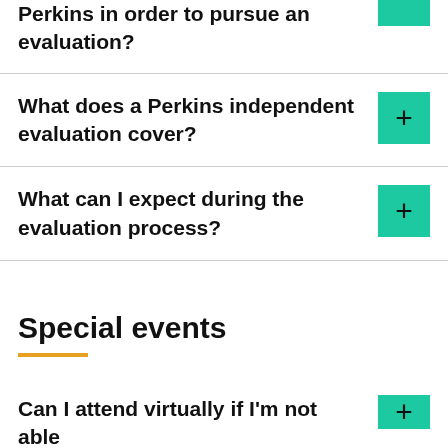Perkins in order to pursue an evaluation?
What does a Perkins independent evaluation cover?
What can I expect during the evaluation process?
Special events
Can I attend virtually if I'm not able